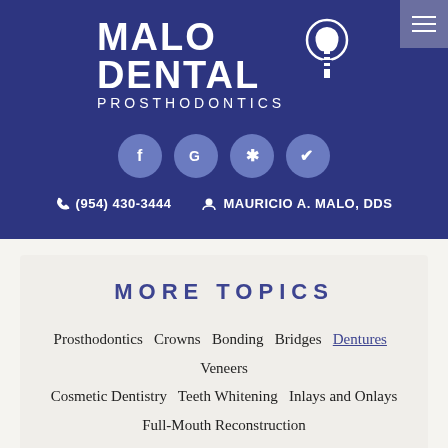[Figure (logo): Malo Dental Prosthodontics logo with tooth/implant icon on dark blue background]
[Figure (infographic): Four social media icon circles: Facebook (f), Google (G), Yelp (asterisk), Healthgrades (checkmark)]
(954) 430-3444   MAURICIO A. MALO, DDS
MORE TOPICS
Prosthodontics   Crowns   Bonding   Bridges   Dentures   Veneers   Cosmetic Dentistry   Teeth Whitening   Inlays and Onlays   Full-Mouth Reconstruction